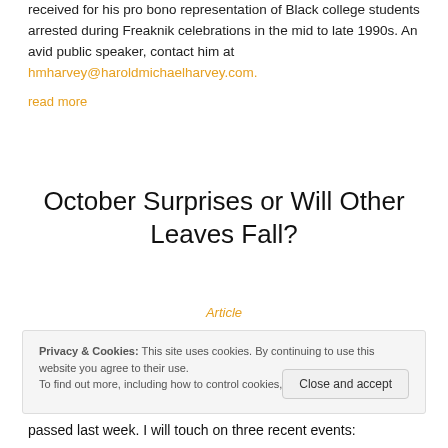received for his pro bono representation of Black college students arrested during Freaknik celebrations in the mid to late 1990s. An avid public speaker, contact him at hmharvey@haroldmichaelharvey.com. read more
October Surprises or Will Other Leaves Fall?
Article
Privacy & Cookies: This site uses cookies. By continuing to use this website you agree to their use. To find out more, including how to control cookies, see here: Cookie Policy
passed last week. I will touch on three recent events: